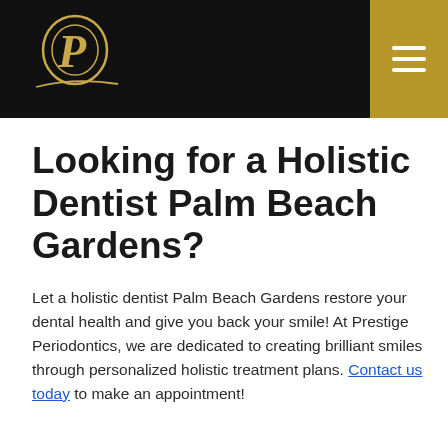Prestige Periodontics – navigation header with logo and menu button
Looking for a Holistic Dentist Palm Beach Gardens?
Let a holistic dentist Palm Beach Gardens restore your dental health and give you back your smile! At Prestige Periodontics, we are dedicated to creating brilliant smiles through personalized holistic treatment plans. Contact us today to make an appointment!